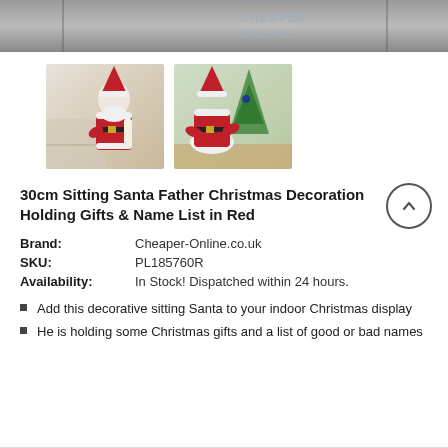[Figure (photo): Top banner showing a partially visible website header with 'CHEAPER ONLINE' text overlay on a dark background]
[Figure (photo): Product thumbnail 1: A sitting Santa Claus decoration holding gifts and a name list, shown against a light indoor background]
[Figure (photo): Product thumbnail 2: Back view of sitting Santa Claus decoration in red outfit, positioned near a Christmas tree]
30cm Sitting Santa Father Christmas Decoration Holding Gifts & Name List in Red
| Brand: | Cheaper-Online.co.uk |
| SKU: | PL185760R |
| Availability: | In Stock! Dispatched within 24 hours. |
Add this decorative sitting Santa to your indoor Christmas display
He is holding some Christmas gifts and a list of good or bad names